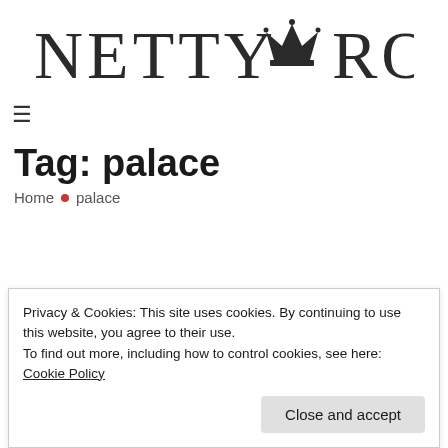[Figure (logo): Netty Royal logo with crown icon between the two words, large serif font]
≡
Tag: palace
Home • palace
Privacy & Cookies: This site uses cookies. By continuing to use this website, you agree to their use. To find out more, including how to control cookies, see here: Cookie Policy
Close and accept